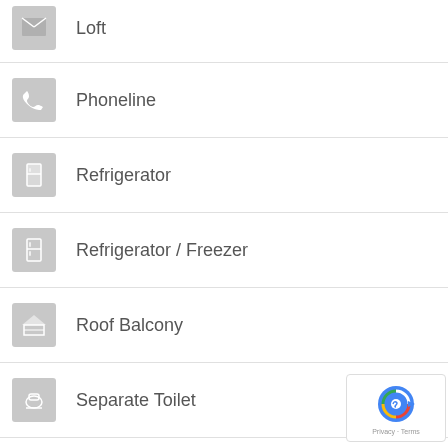Loft
Phoneline
Refrigerator
Refrigerator / Freezer
Roof Balcony
Separate Toilet
Shower
Veranda